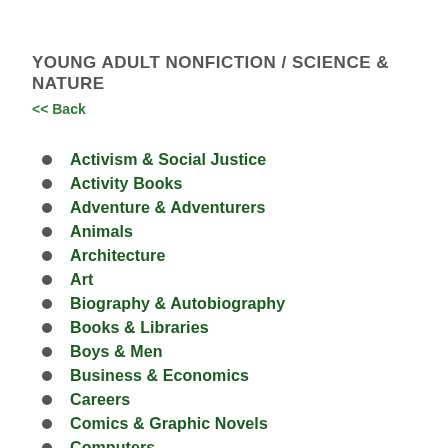YOUNG ADULT NONFICTION / SCIENCE & NATURE
<< Back
Activism & Social Justice
Activity Books
Adventure & Adventurers
Animals
Architecture
Art
Biography & Autobiography
Books & Libraries
Boys & Men
Business & Economics
Careers
Comics & Graphic Novels
Computers